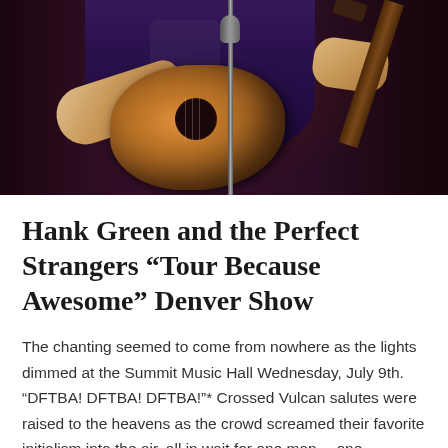[Figure (photo): A person playing an acoustic guitar on stage, photographed from the torso down. The background is dark purple/maroon stage lighting. A microphone stand is visible. The guitar has a warm brown/orange wooden finish.]
Hank Green and the Perfect Strangers “Tour Because Awesome” Denver Show
The chanting seemed to come from nowhere as the lights dimmed at the Summit Music Hall Wednesday, July 9th. “DFTBA! DFTBA! DFTBA!”* Crossed Vulcan salutes were raised to the heavens as the crowd screamed their favorite initialism into the air, all in wait for one man— one